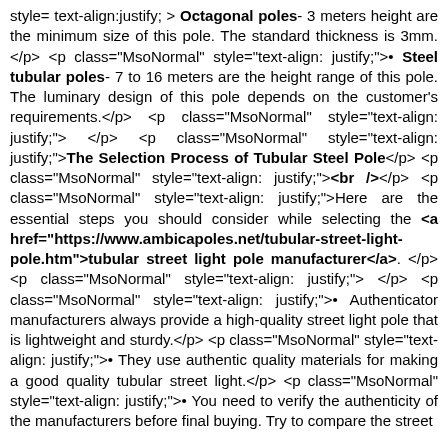style= text-align:justify; > <strong style= mso-bidi-font-weight: normal; >Octagonal poles</strong>- 3 meters height are the minimum size of this pole. The standard thickness is 3mm.</p> <p class="MsoNormal" style="text-align: justify;">• <strong style="mso-bidi-font-weight: normal;">Steel tubular poles</strong>- 7 to 16 meters are the height range of this pole. The luminary design of this pole depends on the customer's requirements.</p> <p class="MsoNormal" style="text-align: justify;"> </p> <p class="MsoNormal" style="text-align: justify;"><strong style="mso-bidi-font-weight: normal;">The Selection Process of Tubular Steel Pole</strong></p> <p class="MsoNormal" style="text-align: justify;"><strong style="mso-bidi-font-weight: normal;"><br /></strong></p> <p class="MsoNormal" style="text-align: justify;">Here are the essential steps you should consider while selecting the <strong style="mso-bidi-font-weight: normal;"><a href="https://www.ambicapoles.net/tubular-street-light-pole.htm">tubular street light pole manufacturer</a></strong>. </p> <p class="MsoNormal" style="text-align: justify;"> </p> <p class="MsoNormal" style="text-align: justify;">• Authenticator manufacturers always provide a high-quality street light pole that is lightweight and sturdy.</p> <p class="MsoNormal" style="text-align: justify;">• They use authentic quality materials for making a good quality tubular street light.</p> <p class="MsoNormal" style="text-align: justify;">• You need to verify the authenticity of the manufacturers before final buying. Try to compare the street